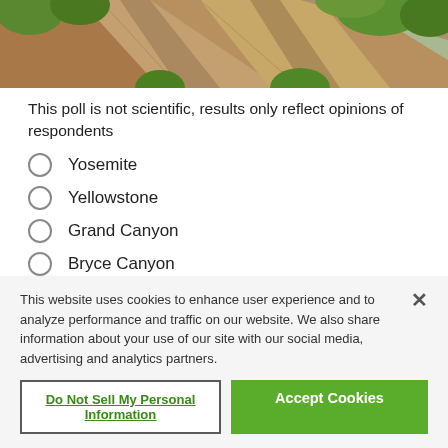[Figure (photo): Partial photo of rocky cliff face with green trees/vegetation, appears to be a national park landscape]
This poll is not scientific, results only reflect opinions of respondents
Yosemite
Yellowstone
Grand Canyon
Bryce Canyon
Everglades
Great Smoky Mountains
Blue Ridge Parkway
This website uses cookies to enhance user experience and to analyze performance and traffic on our website. We also share information about your use of our site with our social media, advertising and analytics partners.
Do Not Sell My Personal Information
Accept Cookies